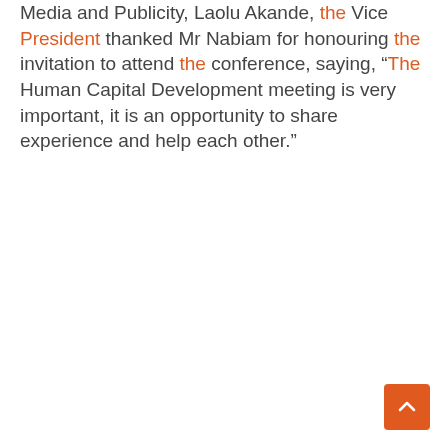Media and Publicity, Laolu Akande, the Vice President thanked Mr Nabiam for honouring the invitation to attend the conference, saying, “The Human Capital Development meeting is very important, it is an opportunity to share experience and help each other.”